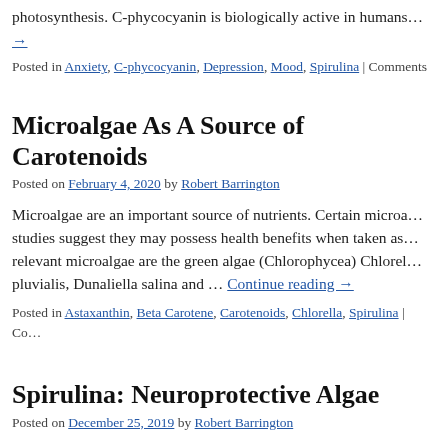photosynthesis. C-phycocyanin is biologically active in humans…
→
Posted in Anxiety, C-phycocyanin, Depression, Mood, Spirulina | Comments
Microalgae As A Source of Carotenoids
Posted on February 4, 2020 by Robert Barrington
Microalgae are an important source of nutrients. Certain microa… studies suggest they may possess health benefits when taken as… relevant microalgae are the green algae (Chlorophycea) Chlorel… pluvialis, Dunaliella salina and … Continue reading →
Posted in Astaxanthin, Beta Carotene, Carotenoids, Chlorella, Spirulina | Co…
Spirulina: Neuroprotective Algae
Posted on December 25, 2019 by Robert Barrington
Spirulina platensis (Spirulina) is a single celled spiral-shaped bl… Oscillatorinceae family of algae. Spirulina is a rich source of n…